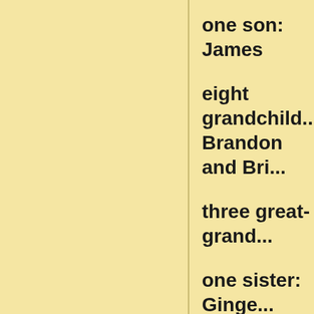one son: James
eight grandchild... Brandon and Bri...
three great-grand...
one sister: Ginge...
one brother: Law...
and several niec...
In addition to her... Allan Kaziska an... Cochran...